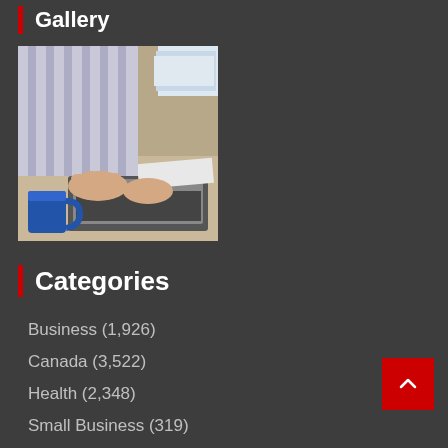Gallery
[Figure (photo): Person working at a desk with a laptop and blue coffee mug, wearing a striped shirt, hands visible over keyboard and papers]
Categories
Business (1,926)
Canada (3,522)
Health (2,348)
Small Business (319)
Sports (3,048)
Technology (2,122)
World (2,279)